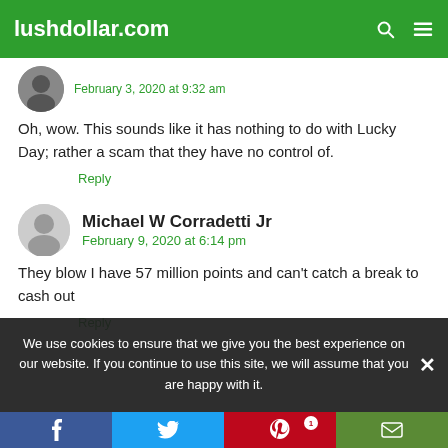lushdollar.com
February 3, 2020 at 9:32 am
Oh, wow. This sounds like it has nothing to do with Lucky Day; rather a scam that they have no control of.
Reply
Michael W Corradetti Jr
February 9, 2020 at 6:14 pm
They blow I have 57 million points and can't catch a break to cash out
Reply
We use cookies to ensure that we give you the best experience on our website. If you continue to use this site, we will assume that you are happy with it.